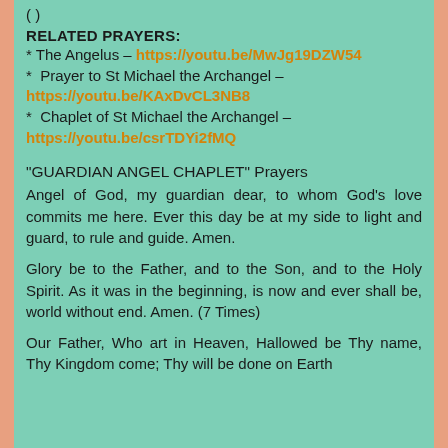(…)
RELATED PRAYERS:
* The Angelus – https://youtu.be/MwJg19DZW54
* Prayer to St Michael the Archangel – https://youtu.be/KAxDvCL3NB8
* Chaplet of St Michael the Archangel – https://youtu.be/csrTDYi2fMQ
“GUARDIAN ANGEL CHAPLET” Prayers
Angel of God, my guardian dear, to whom God’s love commits me here. Ever this day be at my side to light and guard, to rule and guide. Amen.
Glory be to the Father, and to the Son, and to the Holy Spirit. As it was in the beginning, is now and ever shall be, world without end. Amen. (7 Times)
Our Father, Who art in Heaven, Hallowed be Thy name, Thy Kingdom come; Thy will be done on Earth…